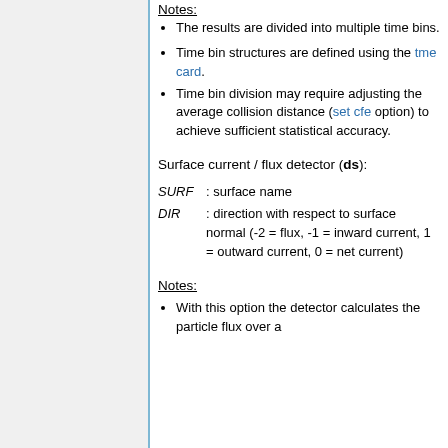Notes:
The results are divided into multiple time bins.
Time bin structures are defined using the tme card.
Time bin division may require adjusting the average collision distance (set cfe option) to achieve sufficient statistical accuracy.
Surface current / flux detector (ds):
SURF  : surface name
DIR : direction with respect to surface normal (-2 = flux, -1 = inward current, 1 = outward current, 0 = net current)
Notes:
With this option the detector calculates the particle flux over a